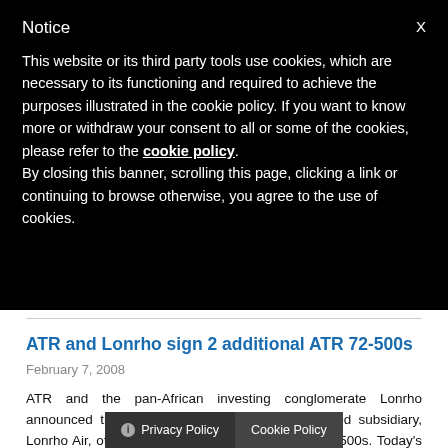Notice
This website or its third party tools use cookies, which are necessary to its functioning and required to achieve the purposes illustrated in the cookie policy. If you want to know more or withdraw your consent to all or some of the cookies, please refer to the cookie policy.
By closing this banner, scrolling this page, clicking a link or continuing to browse otherwise, you agree to the use of cookies.
ATR and Lonrho sign 2 additional ATR 72-500s
February 7, 2008
ATR and the pan-African investing conglomerate Lonrho announced the signature by Lonrho's wholly-owned subsidiary, Lonrho Air, of a MoU for the purchase of 2 ATR 72-500s. Today's deal follows a first order for 8 new aircraft, announced in January 2008. These 10...s...ed by Fly540, an